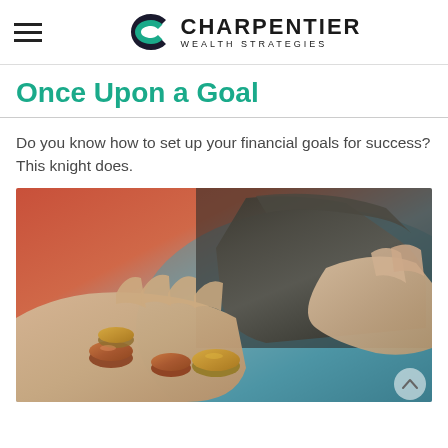Charpentier Wealth Strategies
Once Upon a Goal
Do you know how to set up your financial goals for success? This knight does.
[Figure (photo): Close-up photograph of a person holding an open wallet in one hand while coins rest in the open palm of the other hand, suggesting financial scarcity or counting money.]